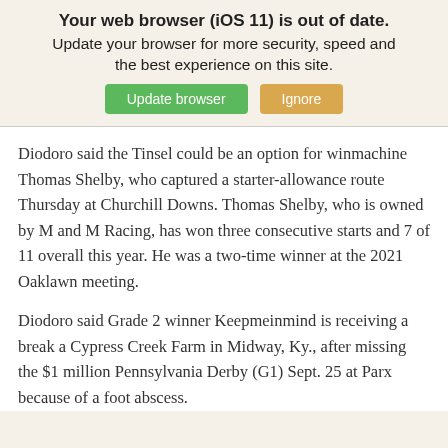[Figure (screenshot): Browser update banner with bold title 'Your web browser (iOS 11) is out of date.' and subtitle 'Update your browser for more security, speed and the best experience on this site.' with two buttons: 'Update browser' (green) and 'Ignore' (orange/tan).]
Diodoro said the Tinsel could be an option for win-machine Thomas Shelby, who captured a starter-allowance route Thursday at Churchill Downs. Thomas Shelby, who is owned by M and M Racing, has won three consecutive starts and 7 of 11 overall this year. He was a two-time winner at the 2021 Oaklawn meeting.
Diodoro said Grade 2 winner Keepmeinmind is receiving a break a Cypress Creek Farm in Midway, Ky., after missing the $1 million Pennsylvania Derby (G1) Sept. 25 at Parx because of a foot abscess.